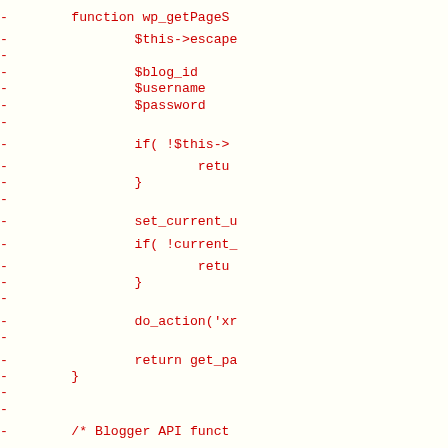Code diff showing removed lines (prefixed with -) of PHP code including function wp_getPageS..., $this->escape..., $blog_id, $username, $password, if(!$this->..., return..., }, set_current_u..., if(!current_..., return..., }, do_action('xr..., return get_pa..., }, Blogger API funct... comment, * specs on http://p..., */, blogger.getUsersB... comment, function blogger_getU..., $this->escape...